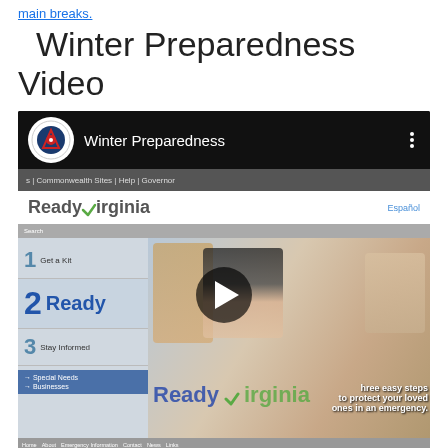main breaks.
Winter Preparedness Video
[Figure (screenshot): Embedded YouTube-style video player showing the Winter Preparedness video from the Virginia Department of Emergency Management. The video thumbnail shows the ReadyVirginia website with a family photo and steps 1 Get a Kit, 2 Ready Virginia, 3 Stay Informed. A play button is overlaid in the center. Below the video thumbnail is a back-to-top arrow button.]